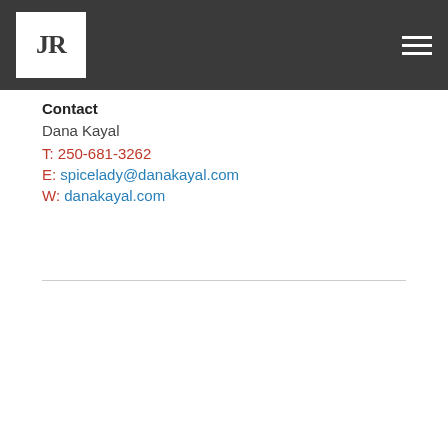JR [logo] — hamburger menu
Contact
Dana Kayal
T: 250-681-3262
E: spicelady@danakayal.com
W: danakayal.com
[Figure (logo): Rodan+Fields life-changing SKINCARE advertisement image on dark textured background]